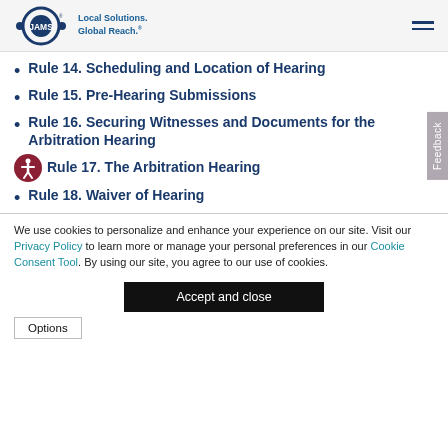JAMS - Local Solutions. Global Reach.
Rule 14. Scheduling and Location of Hearing
Rule 15. Pre-Hearing Submissions
Rule 16. Securing Witnesses and Documents for the Arbitration Hearing
Rule 17. The Arbitration Hearing
Rule 18. Waiver of Hearing
We use cookies to personalize and enhance your experience on our site. Visit our Privacy Policy to learn more or manage your personal preferences in our Cookie Consent Tool. By using our site, you agree to our use of cookies.
Accept and close
Options